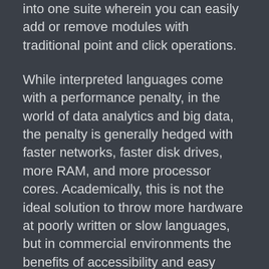into one suite wherein you can easily add or remove modules with traditional point and click operations.
While interpreted languages come with a performance penalty, in the world of data analytics and big data, the penalty is generally hedged with faster networks, faster disk drives, more RAM, and more processor cores. Academically, this is not the ideal solution to throw more hardware at poorly written or slow languages, but in commercial environments the benefits of accessibility and easy sharing of interpretative code has its own payment rewards. Even with standard company computer hardware, most project analytics exercises will run in reasonable time.